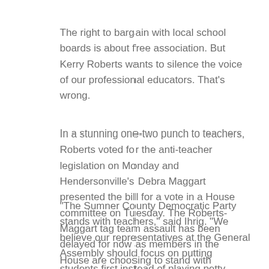The right to bargain with local school boards is about free association.  But Kerry Roberts wants to silence the voice of our professional educators.  That's wrong.
In a stunning one-two punch to teachers, Roberts voted for the anti-teacher legislation on Monday and Hendersonville's Debra Maggart presented the bill for a vote in a House committee on Tuesday.  The Roberts-Maggart tag team assault has been delayed for now as members in the House are choosing to stand with teachers instead of playing partisan politics.
"The Sumner County Democratic Party stands with teachers," said Ihrig.  "We believe our representatives at the General Assembly should focus on putting students first instead of playing petty games with public